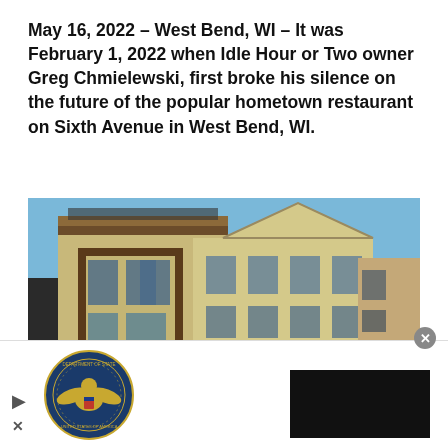May 16, 2022 – West Bend, WI – It was February 1, 2022 when Idle Hour or Two owner Greg Chmielewski, first broke his silence on the future of the popular hometown restaurant on Sixth Avenue in West Bend, WI.
[Figure (photo): Street-level photo of historic downtown West Bend, WI buildings. Yellow/tan brick multi-story buildings with ornate architectural details, bay windows with dark brown trim, and a neoclassical building with a triangular pediment on the right. Blue sky visible in the background.]
[Figure (other): Advertisement banner with US Department of State seal/logo on the left, a play button, an X/close button, and a black rectangle on the right.]